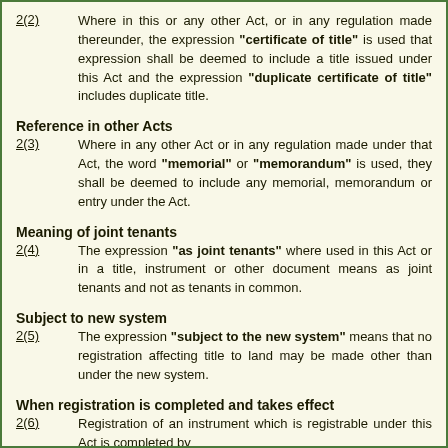2(2) Where in this or any other Act, or in any regulation made thereunder, the expression "certificate of title" is used that expression shall be deemed to include a title issued under this Act and the expression "duplicate certificate of title" includes duplicate title.
Reference in other Acts
2(3) Where in any other Act or in any regulation made under that Act, the word "memorial" or "memorandum" is used, they shall be deemed to include any memorial, memorandum or entry under the Act.
Meaning of joint tenants
2(4) The expression "as joint tenants" where used in this Act or in a title, instrument or other document means as joint tenants and not as tenants in common.
Subject to new system
2(5) The expression "subject to the new system" means that no registration affecting title to land may be made other than under the new system.
When registration is completed and takes effect
2(6) Registration of an instrument which is registrable under this Act is completed by
(a) the certificate of registration being signed by the district registrar; or
(b) the data being entered in the electronic information system and